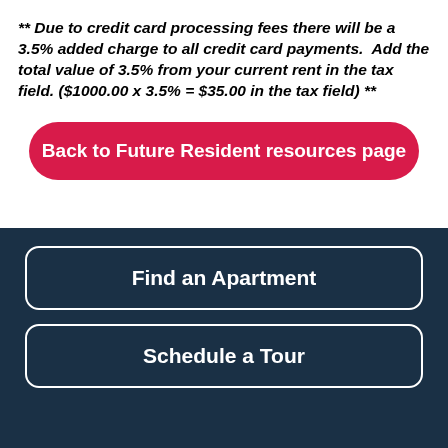** Due to credit card processing fees there will be a 3.5% added charge to all credit card payments.  Add the total value of 3.5% from your current rent in the tax field. ($1000.00 x 3.5% = $35.00 in the tax field) **
Back to Future Resident resources page
Find an Apartment
Schedule a Tour